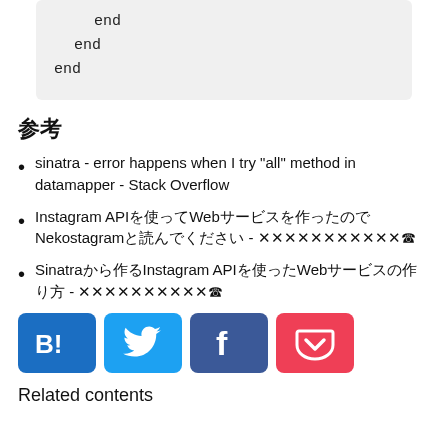end
  end
end
参考
sinatra - error happens when I try "all" method in datamapper - Stack Overflow
Instagram APIを使ってWebサービスを作ったのでNekostagramと読んでください - ✕✕✕✕✕✕✕✕✕✕✕☎
Sinatraから作るInstagram APIを使ったWebサービスの作り方 - ✕✕✕✕✕✕✕✕✕✕☎
[Figure (other): Social share buttons: Hatena Bookmark (blue B!), Twitter (blue bird), Facebook (blue f), Pocket (red pocket icon)]
Related contents